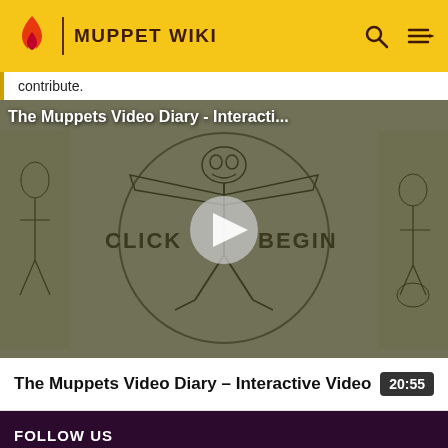MUPPET WIKI
contribute.
[Figure (screenshot): Video thumbnail showing a Da Vinci Vitruvian Man style sketch of Kermit the Frog with arms outstretched, with 'CLICK BEGIN' text and a play button overlay. Title: The Muppets Video Diary - Interacti...]
The Muppets Video Diary – Interactive Video
20:55
FOLLOW US